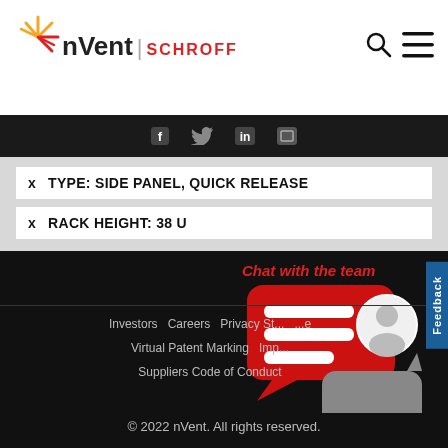[Figure (logo): nVent SCHROFF logo with starburst icon, search icon and hamburger menu]
× TYPE: SIDE PANEL, QUICK RELEASE
× RACK HEIGHT: 38 U
[Figure (illustration): Chat with the team widget showing red speech bubble with three white lines and person avatar, plus grey speech bubble below]
Investors   Careers   Privacy St...   Virtual Patent Marking   Imp...   Suppliers Code of Conduct
© 2022 nVent. All rights reserved.